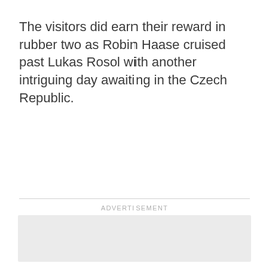The visitors did earn their reward in rubber two as Robin Haase cruised past Lukas Rosol with another intriguing day awaiting in the Czech Republic.
[Figure (other): Advertisement placeholder box with 'ADVERTISEMENT' label above it]